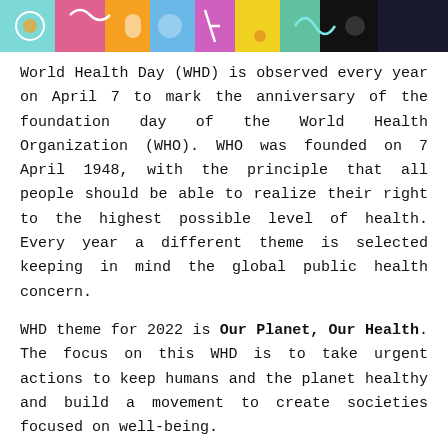[Figure (illustration): Colorful banner image with illustrated health/world theme graphics, multi-colored decorative strip at top of page]
World Health Day (WHD) is observed every year on April 7 to mark the anniversary of the foundation day of the World Health Organization (WHO). WHO was founded on 7 April 1948, with the principle that all people should be able to realize their right to the highest possible level of health. Every year a different theme is selected keeping in mind the global public health concern.
WHD theme for 2022 is Our Planet, Our Health. The focus on this WHD is to take urgent actions to keep humans and the planet healthy and build a movement to create societies focused on well-being.
The COVID-19 pandemic has revealed weaknesses in all areas of society. More than 13 million deaths worldwide are due to avoidable causes, as estimated by the World Health Organization (WHO). Polluted planet and increasing incidence of diseases showed us the urgency of creating sustainable well-being societies. This WHD gives a unique